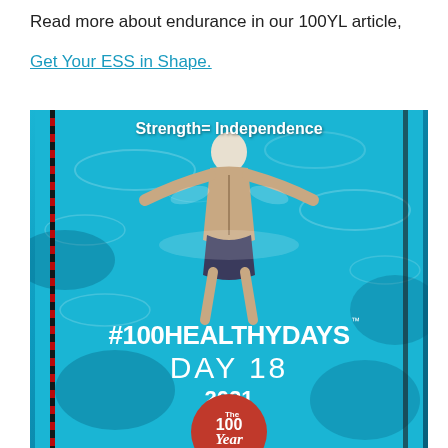Read more about endurance in our 100YL article,
Get Your ESS in Shape.
[Figure (photo): Promotional image for #100HealthyDays Day 18 2021 from The 100 Year Lifestyle, featuring an aerial view of a swimmer in a pool with the text 'Strength=Independence', '#100HEALTHYDAYS', 'DAY 18', '2021', and The 100 Year Lifestyle logo.]